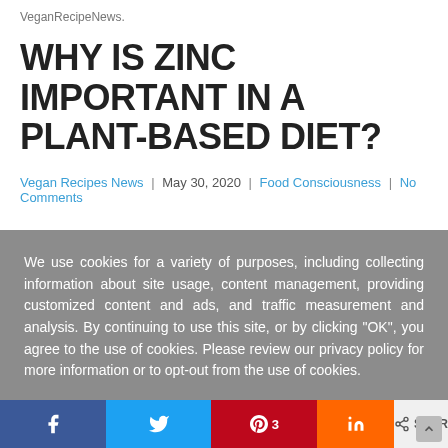VeganRecipeNews.
WHY IS ZINC IMPORTANT IN A PLANT-BASED DIET?
Vegan Recipes News | May 30, 2020 | Food Consciousness | No Comments
We use cookies for a variety of purposes, including collecting information about site usage, content management, providing customized content and ads, and traffic measurement and analysis. By continuing to use this site, or by clicking "OK", you agree to the use of cookies. Please review our privacy policy for more information or to opt-out from the use of cookies.
OK   Learn More